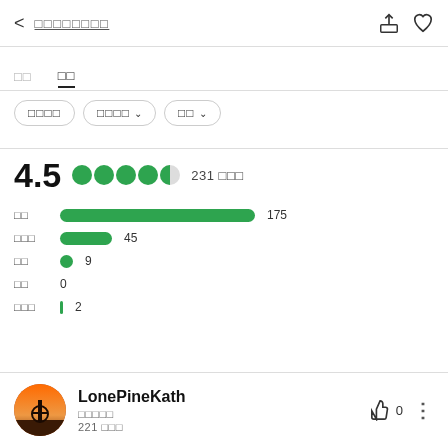< □□□□□□□□
□□  □□
□□□□  □□□□ ∨  □□ ∨
4.5  ●●●●◑  231 □□□
□□  175
□□□  45
□□  9
□□  0
□□□  2
LonePineKath
□□□□□
221 □□□